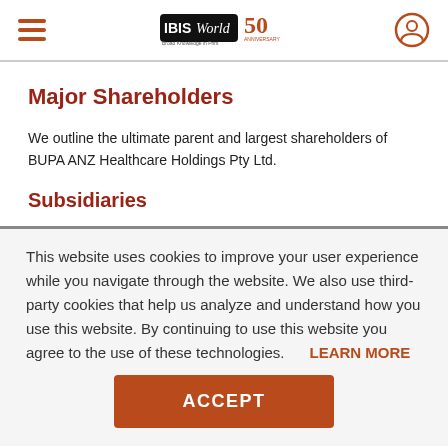IBISWorld 50th Anniversary
Major Shareholders
We outline the ultimate parent and largest shareholders of BUPA ANZ Healthcare Holdings Pty Ltd.
Subsidiaries
This website uses cookies to improve your user experience while you navigate through the website. We also use third-party cookies that help us analyze and understand how you use this website. By continuing to use this website you agree to the use of these technologies.
LEARN MORE
ACCEPT